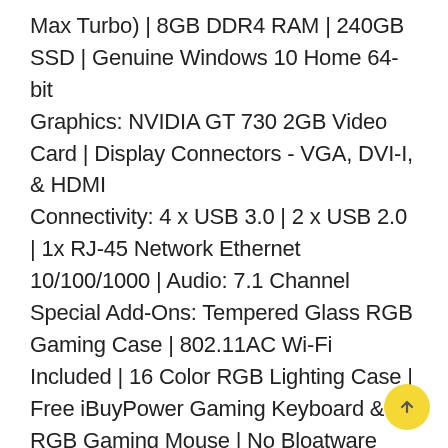Max Turbo) | 8GB DDR4 RAM | 240GB SSD | Genuine Windows 10 Home 64-bit Graphics: NVIDIA GT 730 2GB Video Card | Display Connectors - VGA, DVI-I, & HDMI Connectivity: 4 x USB 3.0 | 2 x USB 2.0 | 1x RJ-45 Network Ethernet 10/100/1000 | Audio: 7.1 Channel Special Add-Ons: Tempered Glass RGB Gaming Case | 802.11AC Wi-Fi Included | 16 Color RGB Lighting Case | Free iBuyPower Gaming Keyboard & RGB Gaming Mouse | No Bloatware